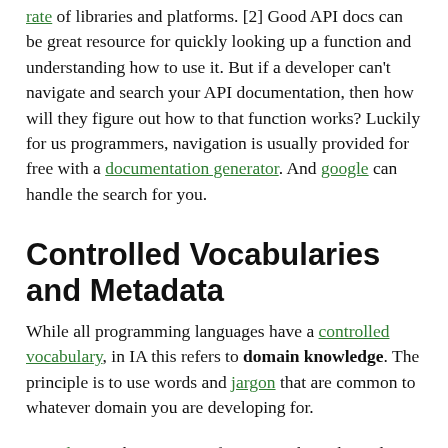rate of libraries and platforms. [2] Good API docs can be great resource for quickly looking up a function and understanding how to use it. But if a developer can't navigate and search your API documentation, then how will they figure out how to that function works? Luckily for us programmers, navigation is usually provided for free with a documentation generator. And google can handle the search for you.
Controlled Vocabularies and Metadata
While all programming languages have a controlled vocabulary, in IA this refers to domain knowledge. The principle is to use words and jargon that are common to whatever domain you are developing for.
Metadata, in this case, is information about the code, such as comments and documentation. Just as an Information Architect is in charge of the language use within a system, the lead developer should be in charge of the domain language and